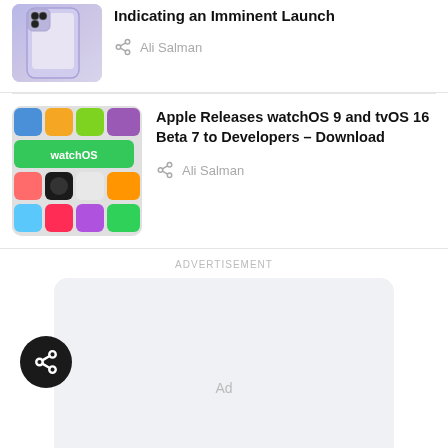[Figure (photo): iPhone thumbnail image - purple/lavender iPhone from rear angle showing camera module]
Indicating an Imminent Launch
Ali Salman
[Figure (photo): watchOS collage thumbnail showing multiple Apple Watch faces and Apple TV with watchOS label]
Apple Releases watchOS 9 and tvOS 16 Beta 7 to Developers – Download
Ali Salman
ADVERTISEMENT
[Figure (other): Advertisement placeholder box with 'Ad' text in center]
[Figure (other): Floating action button - dark circular button with share icon]